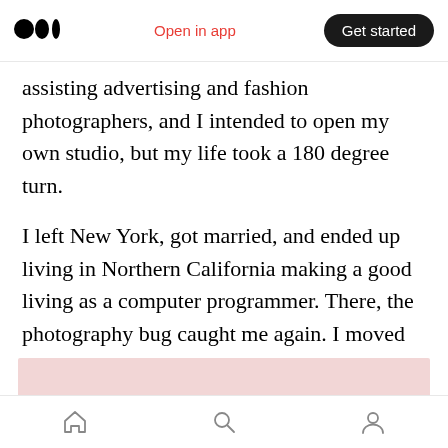Medium app header with logo, Open in app link, and Get started button
assisting advertising and fashion photographers, and I intended to open my own studio, but my life took a 180 degree turn.
I left New York, got married, and ended up living in Northern California making a good living as a computer programmer. There, the photography bug caught me again. I moved to a 4x5 field camera and would wander the local hills and Sierras making landscapes.
[Figure (photo): Pink/light red rectangular image strip, partially visible at bottom of content area]
Bottom navigation bar with home, search, and profile icons